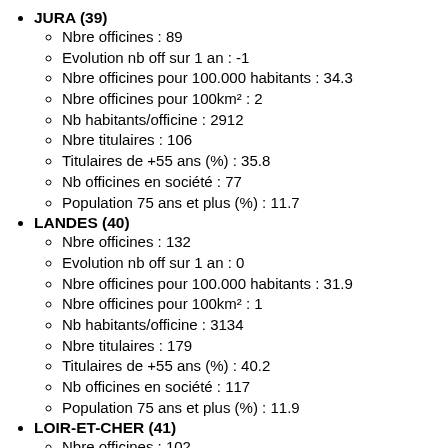JURA (39)
Nbre officines : 89
Evolution nb off sur 1 an : -1
Nbre officines pour 100.000 habitants : 34.3
Nbre officines pour 100km² : 2
Nb habitants/officine : 2912
Nbre titulaires : 106
Titulaires de +55 ans (%) : 35.8
Nb officines en société : 77
Population 75 ans et plus (%) : 11.7
LANDES (40)
Nbre officines : 132
Evolution nb off sur 1 an : 0
Nbre officines pour 100.000 habitants : 31.9
Nbre officines pour 100km² : 1
Nb habitants/officine : 3134
Nbre titulaires : 179
Titulaires de +55 ans (%) : 40.2
Nb officines en société : 117
Population 75 ans et plus (%) : 11.9
LOIR-ET-CHER (41)
Nbre officines : 102
Evolution nb off sur 1 an : 0
Nbre officines pour 100.000 habitants : 31.0
Nbre officines pour 100km² : 2